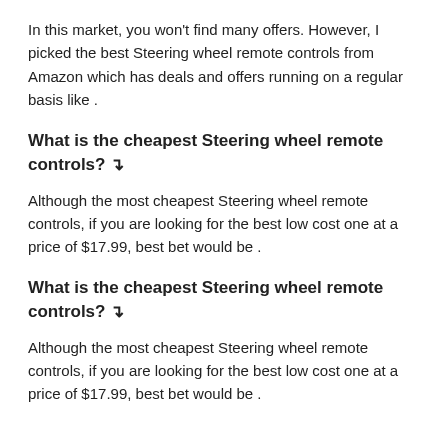In this market, you won't find many offers. However, I picked the best Steering wheel remote controls from Amazon which has deals and offers running on a regular basis like .
What is the cheapest Steering wheel remote controls? ↴
Although the most cheapest Steering wheel remote controls, if you are looking for the best low cost one at a price of $17.99, best bet would be .
What is the cheapest Steering wheel remote controls? ↴
Although the most cheapest Steering wheel remote controls, if you are looking for the best low cost one at a price of $17.99, best bet would be .